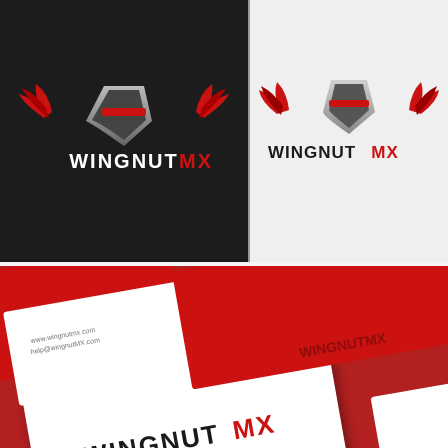[Figure (logo): WingnutMX logo on dark background with wing and shield emblem above text]
[Figure (logo): WingnutMX logo on light background with red and silver wing emblem above text]
[Figure (photo): Business cards for WingnutMX arranged on a red and white background showing Nick Spen... contact information]
by KVA
Express yourself with a custom wing design created just for you by a professional designer. Need ideas? We've collected some amazing